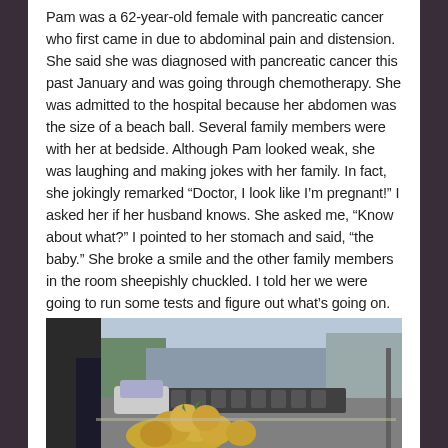Pam was a 62-year-old female with pancreatic cancer who first came in due to abdominal pain and distension. She said she was diagnosed with pancreatic cancer this past January and was going through chemotherapy. She was admitted to the hospital because her abdomen was the size of a beach ball. Several family members were with her at bedside. Although Pam looked weak, she was laughing and making jokes with her family. In fact, she jokingly remarked “Doctor, I look like I’m pregnant!” I asked her if her husband knows. She asked me, “Know about what?” I pointed to her stomach and said, “the baby.” She broke a smile and the other family members in the room sheepishly chuckled. I told her we were going to run some tests and figure out what’s going on.
[Figure (photo): Outdoor street scene photo showing a pile of coconuts/tropical fruits in the foreground, with motorcycles and a car in the background, along a street with buildings.]